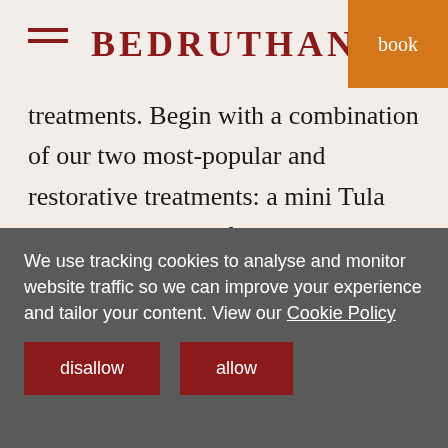BEDRUTHAN
treatments. Begin with a combination of our two most-popular and restorative treatments: a mini Tula Facial to leave the face visibly enlivened, with a short Attuned Massage to help you find balance where it is most needed.
60 minutes (30-minute massage and 30-minute facial).£100 per adult
90 minutes (30-minute massage and 60-minute facial). £130 per adult
We use tracking cookies to analyse and monitor website traffic so we can improve your experience and tailor your content. View our Cookie Policy
disallow
allow